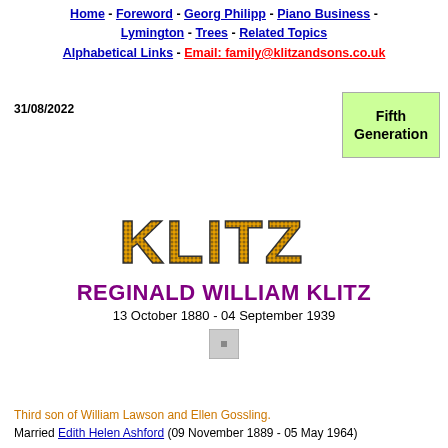Home - Foreword - Georg Philipp - Piano Business - Lymington - Trees - Related Topics
Alphabetical Links - Email: family@klitzandsons.co.uk
31/08/2022
Fifth Generation
[Figure (logo): KLITZ logo in golden/yellow dotted block letters on white background]
REGINALD WILLIAM KLITZ
13 October 1880 - 04 September 1939
[Figure (photo): Small grey placeholder photo thumbnail]
Third son of William Lawson and Ellen Gossling.
Married Edith Helen Ashford (09 November 1889 - 05 May 1964)